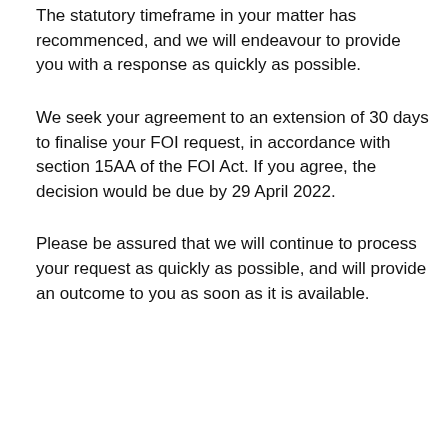The statutory timeframe in your matter has recommenced, and we will endeavour to provide you with a response as quickly as possible.
We seek your agreement to an extension of 30 days to finalise your FOI request, in accordance with section 15AA of the FOI Act. If you agree, the decision would be due by 29 April 2022.
Please be assured that we will continue to process your request as quickly as possible, and will provide an outcome to you as soon as it is available.